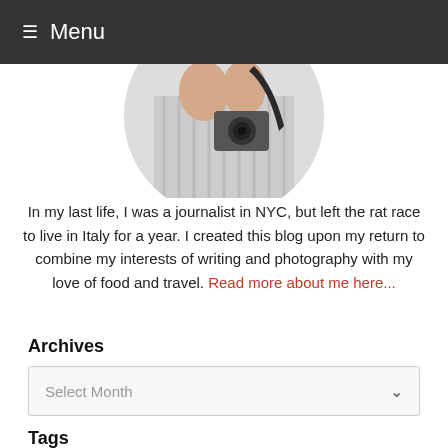Menu
[Figure (photo): Partial circular-cropped photo of a person in a striped shirt holding a camera with a black strap]
In my last life, I was a journalist in NYC, but left the rat race to live in Italy for a year. I created this blog upon my return to combine my interests of writing and photography with my love of food and travel. Read more about me here...
Archives
Select Month
Tags
Abruzzo
blueberries
butternut squash
cake